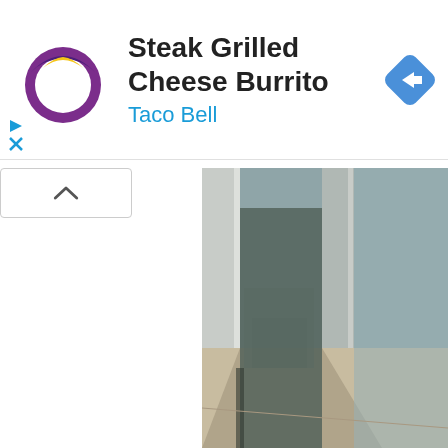[Figure (screenshot): Advertisement banner for Taco Bell's Steak Grilled Cheese Burrito. Shows Taco Bell logo on the left, ad title 'Steak Grilled Cheese Burrito' in bold, 'Taco Bell' in blue below it, a blue navigation diamond icon on the right, and two small ad control icons (play triangle and X) on the bottom left.]
[Figure (photo): Photo of an interior hallway or corridor with weathered blue-grey walls, an open doorway, and a concrete floor. The image is partially cropped and shows aged, peeling paint on walls.]